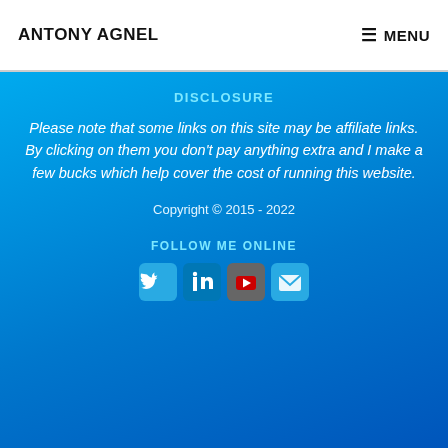ANTONY AGNEL | MENU
DISCLOSURE
Please note that some links on this site may be affiliate links. By clicking on them you don't pay anything extra and I make a few bucks which help cover the cost of running this website.
Copyright © 2015 - 2022
FOLLOW ME ONLINE
[Figure (other): Social media icons: Twitter, LinkedIn, YouTube, Email]